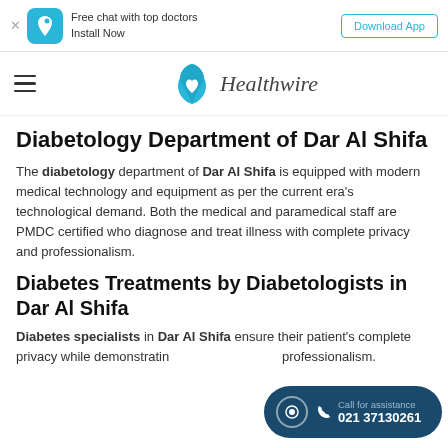Free chat with top doctors Install Now | Download App
[Figure (logo): Healthwire logo with teal heart/drop icon and italic text 'Healthwire']
Diabetology Department of Dar Al Shifa
The diabetology department of Dar Al Shifa is equipped with modern medical technology and equipment as per the current era's technological demand. Both the medical and paramedical staff are PMDC certified who diagnose and treat illness with complete privacy and professionalism.
Diabetes Treatments by Diabetologists in Dar Al Shifa
Diabetes specialists in Dar Al Shifa ensure their patient's complete privacy while demonstrating professionalism.